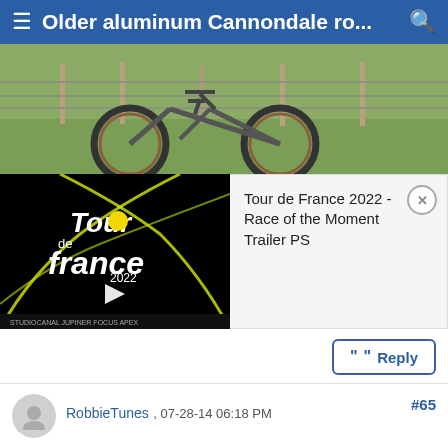Older aluminum Cannondale ro...
[Figure (photo): Bicycle leaning against a fence outdoors on grass]
[Figure (screenshot): Tour de France 2022 video thumbnail with tooltip showing 'Tour de France 2022 - Race of the Moment Trailer PS']
Reply
#65
RobbieTunes , 07-28-14 06:18 PM
Banned.
Nice wedge bag by Zefal. Did you cut the EZ-mount off? Walmart had them for $5, and I bought the last 5 they had. Also, great saddle.